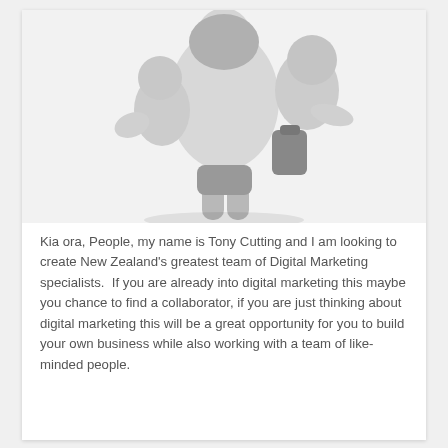[Figure (photo): Black and white studio photo of a woman holding two children — one small child on her left arm and one older child on her back (right side). All are smiling, dressed casually in white tops.]
Kia ora, People, my name is Tony Cutting and I am looking to create New Zealand's greatest team of Digital Marketing specialists.  If you are already into digital marketing this maybe you chance to find a collaborator, if you are just thinking about digital marketing this will be a great opportunity for you to build your own business while also working with a team of like-minded people.